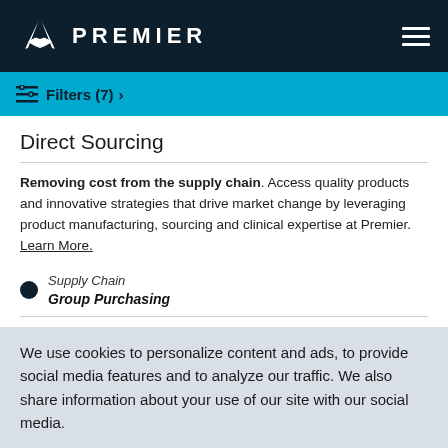PREMIER
Filters (7)
Direct Sourcing
Removing cost from the supply chain. Access quality products and innovative strategies that drive market change by leveraging product manufacturing, sourcing and clinical expertise at Premier. Learn More.
Supply Chain
Group Purchasing
Purchased Services
Meeting you where you are. National and custom agreements, in
We use cookies to personalize content and ads, to provide social media features and to analyze our traffic. We also share information about your use of our site with our social media.